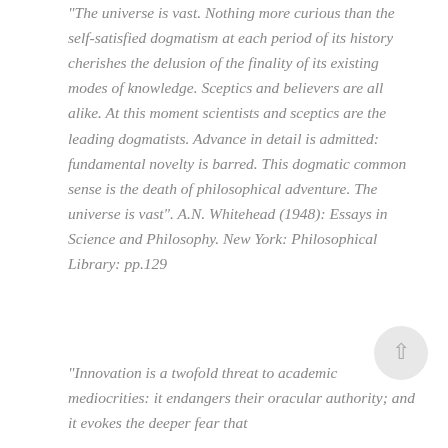“The universe is vast. Nothing more curious than the self-satisfied dogmatism at each period of its history cherishes the delusion of the finality of its existing modes of knowledge. Sceptics and believers are all alike. At this moment scientists and sceptics are the leading dogmatists. Advance in detail is admitted: fundamental novelty is barred. This dogmatic common sense is the death of philosophical adventure. The universe is vast”. A.N. Whitehead (1948): Essays in Science and Philosophy. New York: Philosophical Library: pp.129
“Innovation is a twofold threat to academic mediocrities: it endangers their oracular authority; and it evokes the deeper fear that their intellectual investment may be devalued”